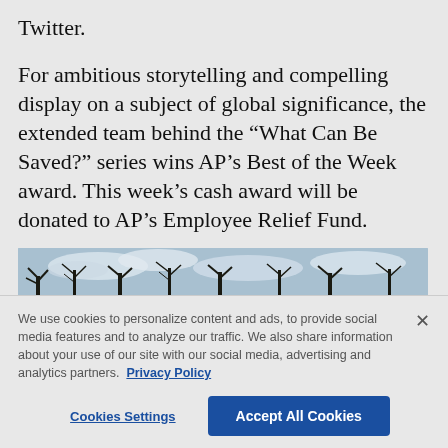Twitter.
For ambitious storytelling and compelling display on a subject of global significance, the extended team behind the “What Can Be Saved?” series wins AP’s Best of the Week award. This week’s cash award will be donated to AP’s Employee Relief Fund.
[Figure (photo): Outdoor photo showing bare winter trees silhouetted against a cloudy sky]
We use cookies to personalize content and ads, to provide social media features and to analyze our traffic. We also share information about your use of our site with our social media, advertising and analytics partners. Privacy Policy
Cookies Settings
Accept All Cookies